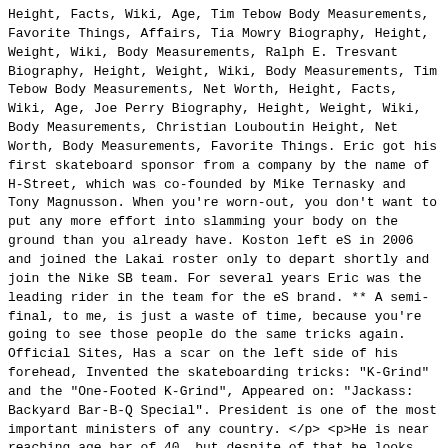Height, Facts, Wiki, Age, Tim Tebow Body Measurements, Favorite Things, Affairs, Tia Mowry Biography, Height, Weight, Wiki, Body Measurements, Ralph E. Tresvant Biography, Height, Weight, Wiki, Body Measurements, Tim Tebow Body Measurements, Net Worth, Height, Facts, Wiki, Age, Joe Perry Biography, Height, Weight, Wiki, Body Measurements, Christian Louboutin Height, Net Worth, Body Measurements, Favorite Things. Eric got his first skateboard sponsor from a company by the name of H-Street, which was co-founded by Mike Ternasky and Tony Magnusson. When you're worn-out, you don't want to put any more effort into slamming your body on the ground than you already have. Koston left eS in 2006 and joined the Lakai roster only to depart shortly and join the Nike SB team. For several years Eric was the leading rider in the team for the eS brand. ** A semi-final, to me, is just a waste of time, because you're going to see those people do the same tricks again. Official Sites, Has a scar on the left side of his forehead, Invented the skateboarding tricks: "K-Grind" and the "One-Footed K-Grind", Appeared on: "Jackass: Backyard Bar-B-Q Special". President is one of the most important ministers of any country. </p> <p>He is near reaching age bar of 40, but despite of that he looks much younger and fitter than his real age. Being born on 29 April 1975, Eric Koston is 45 years old as of todayâ€™s date 27th September 2020. He just goes nuts, so people forget I'm there - it makes it easier for me to hide. Height: 6' 0" (1.83 m) Weight: 160 lbs (72 kg) Marital Status: Married (Ashlee Koston) Full Name: Eric Koston ; Nationality: